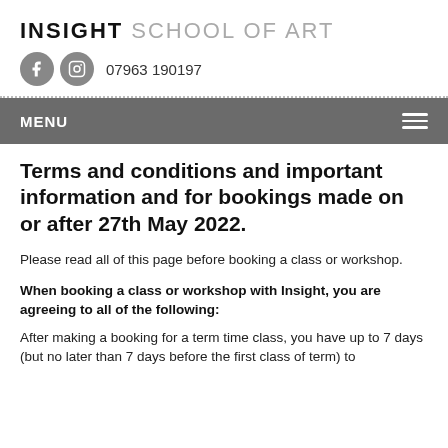INSIGHT SCHOOL OF ART
07963 190197
Terms and conditions and important information and for bookings made on or after 27th May 2022.
Please read all of this page before booking a class or workshop.
When booking a class or workshop with Insight, you are agreeing to all of the following:
After making a booking for a term time class, you have up to 7 days (but no later than 7 days before the first class of term) to